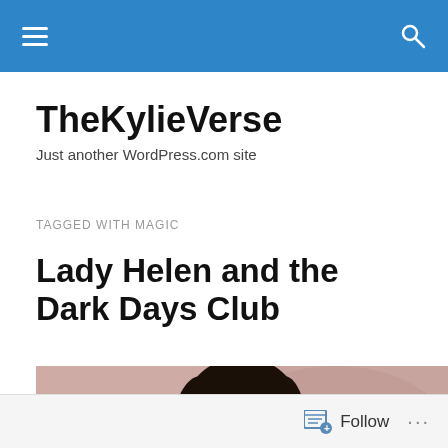TheKylieVerse - navigation bar with hamburger menu and search icon
TheKylieVerse
Just another WordPress.com site
TAGGED WITH MAGIC
Lady Helen and the Dark Days Club
[Figure (photo): A close-up photograph of a young woman with dark hair against a muted pink/rose-toned background, looking at the camera]
Follow ...